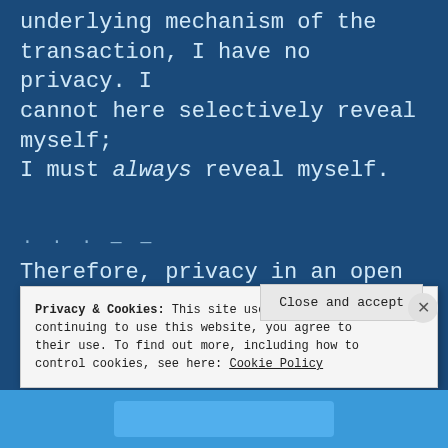underlying mechanism of the transaction, I have no privacy. I cannot here selectively reveal myself; I must always reveal myself.
... — —
Therefore, privacy in an open society requires anonymous transaction systems.
Privacy & Cookies: This site uses cookies. By continuing to use this website, you agree to their use. To find out more, including how to control cookies, see here: Cookie Policy
Close and accept